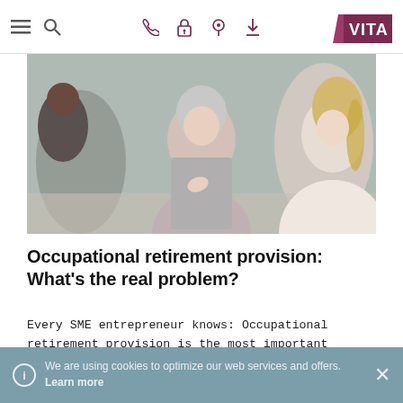VITA — navigation bar with menu, search, phone, lock, location, download icons and VITA logo
[Figure (photo): Two women in a business meeting; an older woman with grey hair gestures while speaking to a younger blonde woman. Other people visible in background.]
Occupational retirement provision: What's the real problem?
Every SME entrepreneur knows: Occupational retirement provision is the most important component of old-age security and risk coverage for their employees. At the same time, the system is coming under increasing pressure and confidence in the second pillar is receding. But what's the
We are using cookies to optimize our web services and offers. Learn more